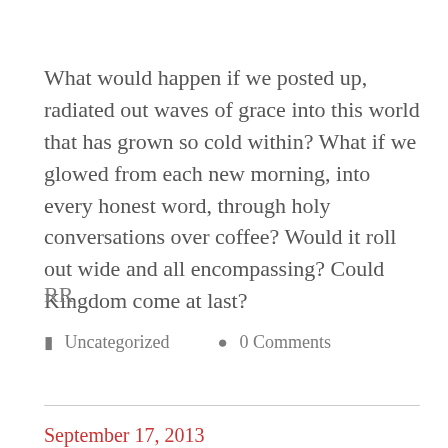What would happen if we posted up, radiated out waves of grace into this world that has grown so cold within? What if we glowed from each new morning, into every honest word, through holy conversations over coffee? Would it roll out wide and all encompassing? Could Kingdom come at last?
RR
Uncategorized   0 Comments
September 17, 2013